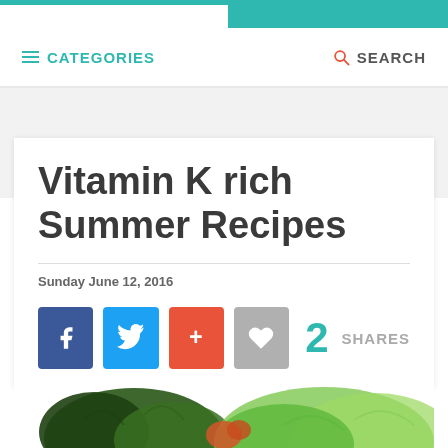CATEGORIES   SEARCH
Vitamin K rich Summer Recipes
Sunday June 12, 2016
[Figure (infographic): Social share buttons: Facebook (blue), Twitter (blue), Google+ (red/orange), Heart/Like (grey). Share count: 2 SHARES. Below is a partial photo of green leafy vegetables.]